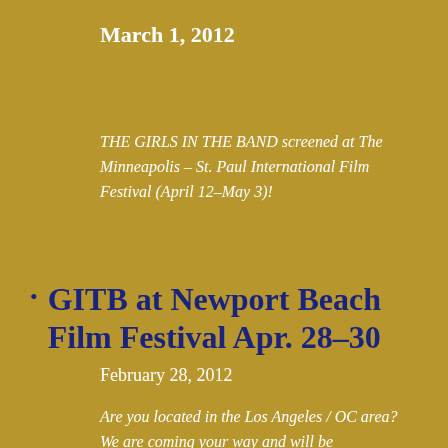March 1, 2012
THE GIRLS IN THE BAND screened at The Minneapolis – St. Paul International Film Festival (April 12–May 3)!
GITB at Newport Beach Film Festival Apr. 28–30
February 28, 2012
Are you located in the Los Angeles / OC area? We are coming your way and will be